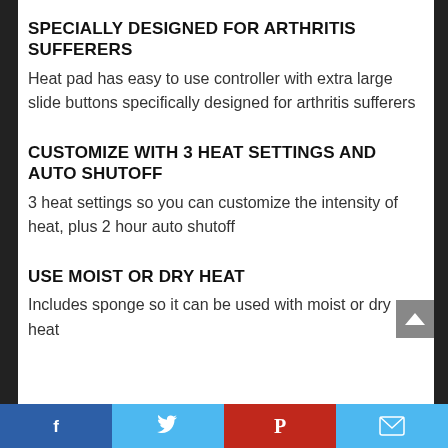SPECIALLY DESIGNED FOR ARTHRITIS SUFFERERS
Heat pad has easy to use controller with extra large slide buttons specifically designed for arthritis sufferers
CUSTOMIZE WITH 3 HEAT SETTINGS AND AUTO SHUTOFF
3 heat settings so you can customize the intensity of heat, plus 2 hour auto shutoff
USE MOIST OR DRY HEAT
Includes sponge so it can be used with moist or dry heat
Facebook | Twitter | Pinterest | Email